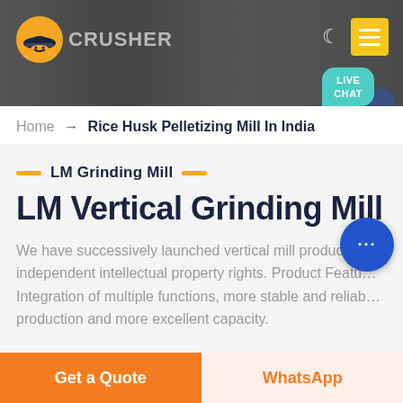[Figure (screenshot): Website header banner with dark industrial background, orange logo icon with hard-hat graphic, 'CRUSHER' text, moon icon and yellow hamburger menu button on right, teal 'LIVE CHAT' speech bubble in bottom-right corner.]
Home → Rice Husk Pelletizing Mill In India
LM Grinding Mill
LM Vertical Grinding Mill
We have successively launched vertical mill products with independent intellectual property rights. Product Features: Integration of multiple functions, more stable and reliable production and more excellent capacity.